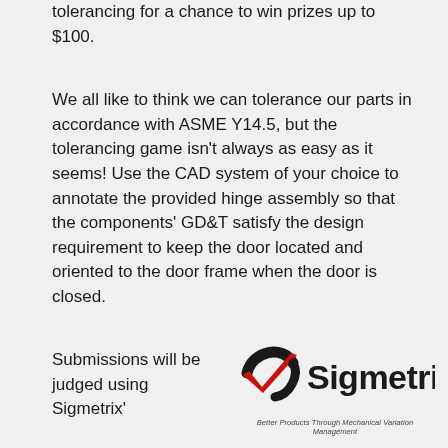tolerancing for a chance to win prizes up to $100.
We all like to think we can tolerance our parts in accordance with ASME Y14.5, but the tolerancing game isn't always as easy as it seems! Use the CAD system of your choice to annotate the provided hinge assembly so that the components' GD&T satisfy the design requirement to keep the door located and oriented to the door frame when the door is closed.
Submissions will be judged using Sigmetrix'
[Figure (logo): Sigmetrix logo with red checkmark swoosh and text 'Sigmetrix' in black, with tagline 'Better Products Through Mechanical Variation Management' below]